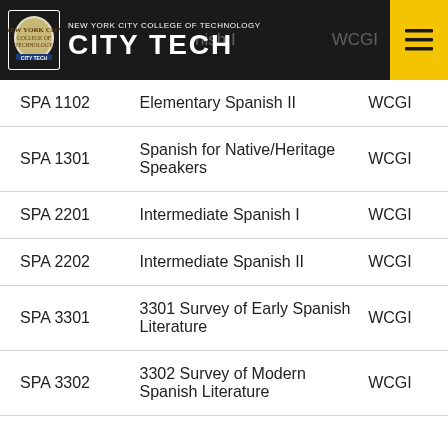NEW YORK CITY COLLEGE OF TECHNOLOGY CITY TECH
| Course | Title | Attribute |
| --- | --- | --- |
| SPA 1102 | Elementary Spanish II | WCGI |
| SPA 1301 | Spanish for Native/Heritage Speakers | WCGI |
| SPA 2201 | Intermediate Spanish I | WCGI |
| SPA 2202 | Intermediate Spanish II | WCGI |
| SPA 3301 | 3301 Survey of Early Spanish Literature | WCGI |
| SPA 3302 | 3302 Survey of Modern Spanish Literature | WCGI |